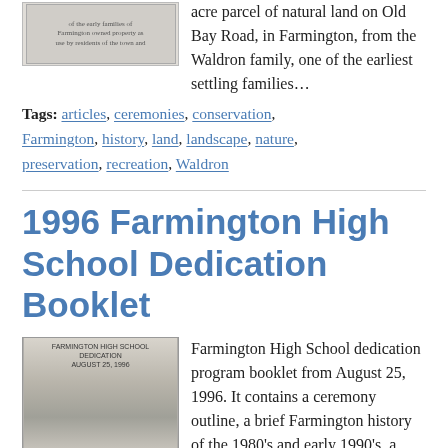[Figure (photo): Small thumbnail image of a historical document about town privileges or property for residents of the town.]
acre parcel of natural land on Old Bay Road, in Farmington, from the Waldron family, one of the earliest settling families…
Tags: articles, ceremonies, conservation, Farmington, history, land, landscape, nature, preservation, recreation, Waldron
1996 Farmington High School Dedication Booklet
[Figure (photo): Black and white photograph of Farmington High School building with a flagpole in front, from the dedication booklet cover dated August 25, 1996.]
Farmington High School dedication program booklet from August 25, 1996. It contains a ceremony outline, a brief Farmington history of the 1980's and early 1990's, a tribute to the Thayer family, and information about the school.